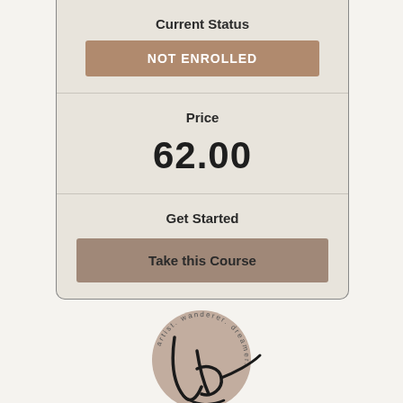Current Status
NOT ENROLLED
Price
62.00
Get Started
Take this Course
[Figure (logo): Circular logo with cursive 'lb' initials on a tan/beige circle, with text 'artist. wanderer. dreamer.' arranged in a circle around the outside]